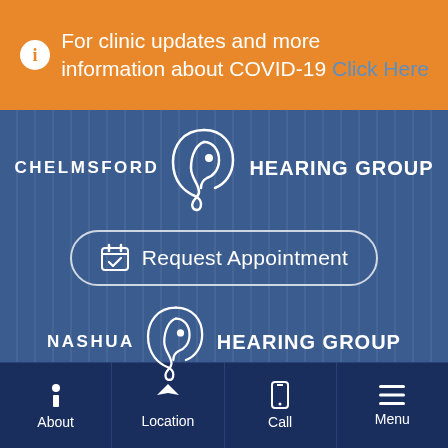For clinic updates and more information about COVID-19 Click Here
[Figure (logo): Chelmsford Hearing Group logo with ear illustration]
Request Appointment
[Figure (logo): Nashua Hearing Group logo with ear illustration]
About | Location | Call | Menu